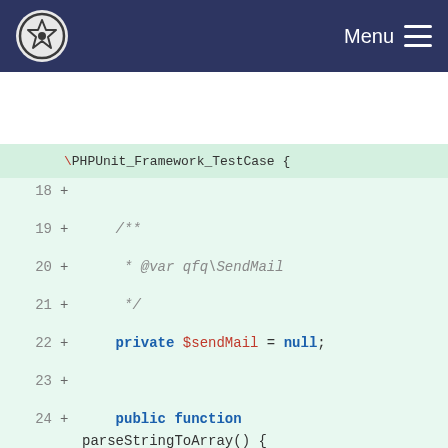Menu
[Figure (screenshot): Code diff viewer showing PHP unit test code lines 18-32, with line numbers, plus signs indicating added lines, on a green-tinted background. Code shows a PHPUnit test class with SendMail instantiation and parseStringToArray test.]